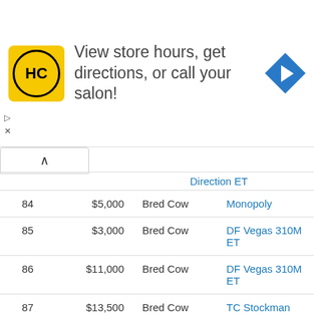[Figure (other): Advertisement banner for a hair salon (HC logo) with text 'View store hours, get directions, or call your salon!' and a blue directional arrow icon.]
| Lot | Price | Type | Sire |
| --- | --- | --- | --- |
|  |  |  | Direction ET |
| 84 | $5,000 | Bred Cow | Monopoly |
| 85 | $3,000 | Bred Cow | DF Vegas 310M ET |
| 86 | $11,000 | Bred Cow | DF Vegas 310M ET |
| 87 | $13,500 | Bred Cow | TC Stockman 365 |
| 88 | $5,250 | Bred Cow | Irish Whiskey |
| 89 | $11,500 | Bred Cow | GCC Total Recall 806T |
| 90 | $10,000 | Bred Cow | Irish Whiskey |